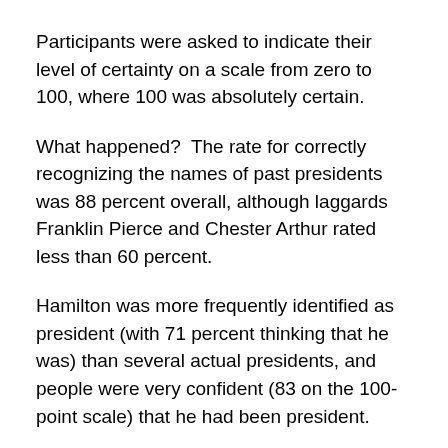Participants were asked to indicate their level of certainty on a scale from zero to 100, where 100 was absolutely certain.
What happened?  The rate for correctly recognizing the names of past presidents was 88 percent overall, although laggards Franklin Pierce and Chester Arthur rated less than 60 percent.
Hamilton was more frequently identified as president (with 71 percent thinking that he was) than several actual presidents, and people were very confident (83 on the 100-point scale) that he had been president.
More than a quarter of the participants incorrectly recognized others, notably Franklin, Hubert Humphrey, and John Calhoun, as past presidents.  Roodiger thinks